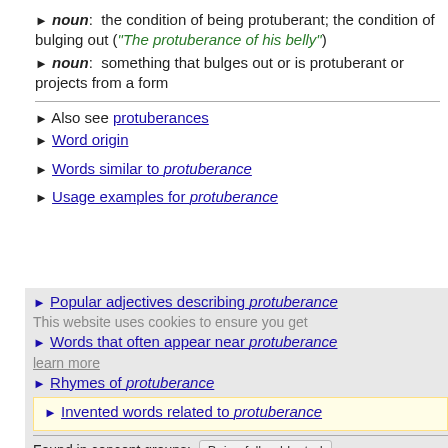▶ noun: the condition of being protuberant; the condition of bulging out ("The protuberance of his belly")
▶ noun: something that bulges out or is protuberant or projects from a form
▶ Also see protuberances
▶ Word origin
▶ Words similar to protuberance
▶ Usage examples for protuberance
▶ Popular adjectives describing protuberance
This website uses cookies to ensure you get
▶ Words that often appear near protuberance
learn more
▶ Rhymes of protuberance
▶ Invented words related to protuberance
Found in concept groups: Being full or bloated